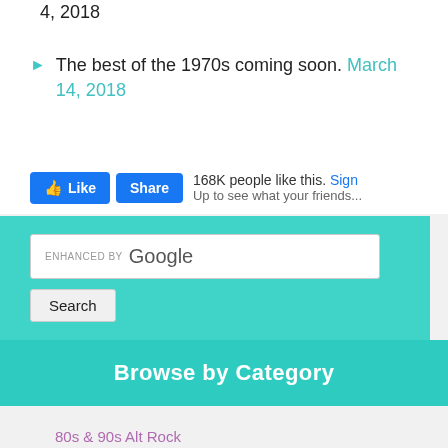4, 2018
The best of the 1970s coming soon. March 14, 2018
[Figure (screenshot): Facebook Like and Share buttons with '168K people like this. Sign ...' text]
[Figure (screenshot): Enhanced by Google search box with Search button on teal background]
Browse by Category
80s & 90s Alt Rock
80s Actors
80s Albums